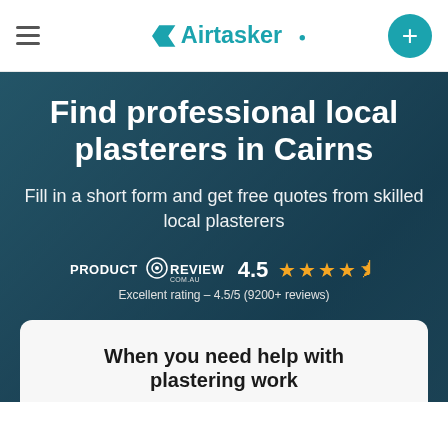Airtasker
Find professional local plasterers in Cairns
Fill in a short form and get free quotes from skilled local plasterers
PRODUCT REVIEW 4.5 ★★★★½
Excellent rating - 4.5/5 (9200+ reviews)
When you need help with plastering work